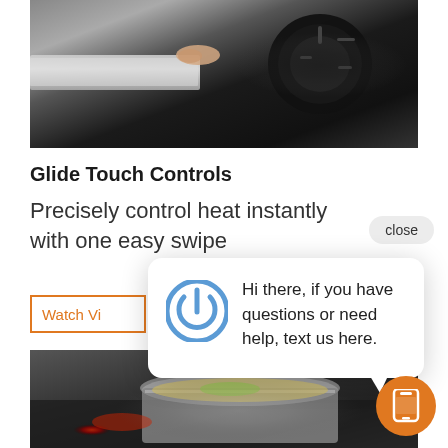[Figure (photo): Close-up photo of a stovetop control dial, black and silver, with a finger touching the edge]
Glide Touch Controls
Precisely control heat instantly with one easy swipe
[Figure (screenshot): Close button (pill-shaped) labeled 'close' on the right side]
[Figure (infographic): Watch Video button (orange outlined button, partially visible)]
[Figure (photo): Photo of a pot on an induction cooktop with food inside]
[Figure (infographic): Chat popup with power icon and text: Hi there, if you have questions or need help, text us here.]
Hi there, if you have questions or need help, text us here.
[Figure (infographic): Orange circular button with mobile phone icon at bottom right]